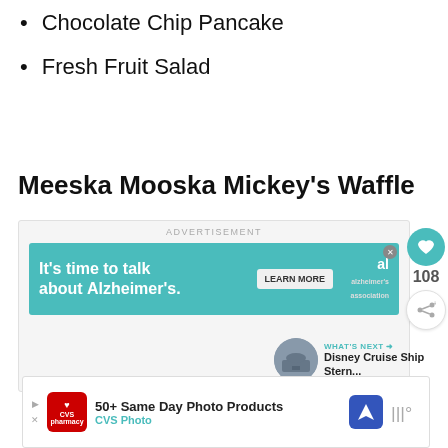Chocolate Chip Pancake
Fresh Fruit Salad
Meeska Mooska Mickey's Waffle
[Figure (screenshot): Advertisement box with Alzheimer's Association banner ad saying 'It's time to talk about Alzheimer's.' with a LEARN MORE button, and a heart/like button showing 108, and a share button.]
[Figure (screenshot): WHAT'S NEXT section with a thumbnail of a cruise ship and text 'Disney Cruise Ship Stern...']
[Figure (screenshot): Bottom advertisement for CVS Photo: '50+ Same Day Photo Products' with CVS Pharmacy logo and navigation icon.]